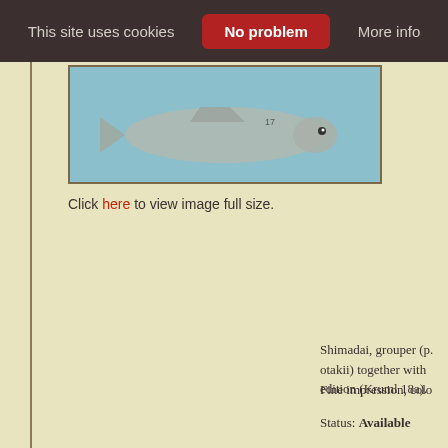This site uses cookies  No problem  More info
[Figure (photo): Thumbnail photograph of a fish (Shimadai grouper) against a blue background]
Click here to view image full size.
Shimadai, grouper (p. otakii) together with edition (Kruml 18a).
Fine impression, colo
Status: Available